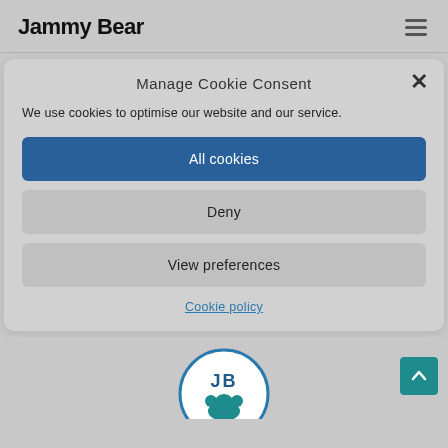Jammy Bear
Manage Cookie Consent
We use cookies to optimise our website and our service.
All cookies
Deny
View preferences
Cookie policy
[Figure (logo): JB circular logo with teal bear illustration at bottom of page]